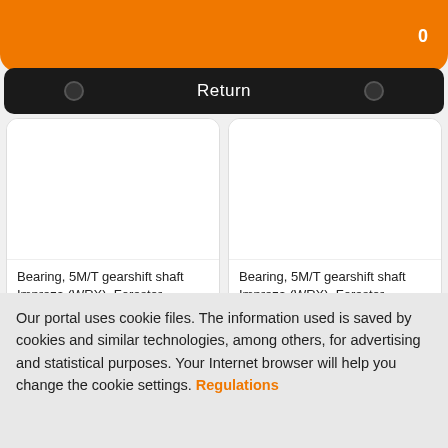0
Return
Bearing, 5M/T gearshift shaft Impreza (WRX), Forester, Legacy, Outback, XV, 22x56x17
44,31 EUR
Bearing, 5M/T gearshift shaft Impreza (WRX), Forester, Legacy, Outback, XV,
37,63 EUR
Our portal uses cookie files. The information used is saved by cookies and similar technologies, among others, for advertising and statistical purposes. Your Internet browser will help you change the cookie settings. Regulations